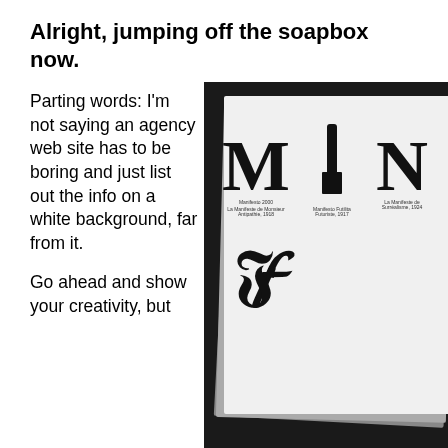Alright, jumping off the soapbox now.
Parting words: I'm not saying an agency web site has to be boring and just list out the info on a white background, far from it.
[Figure (photo): Black and white photograph of a stack of printed cards/booklets showing large typographic letters spelling out 'Manifesto' with various font examples and labels beneath each letter.]
Go ahead and show your creativity, but